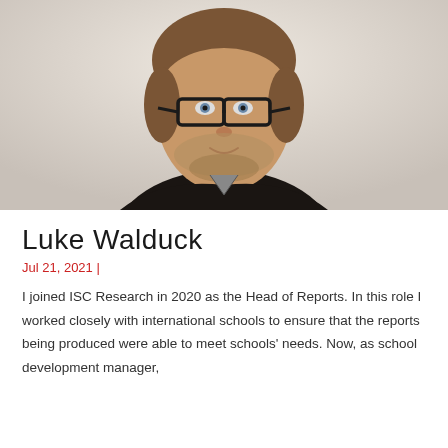[Figure (photo): Headshot of Luke Walduck, a young man with short brown hair, glasses, and a beard, wearing a dark jacket against a light background.]
Luke Walduck
Jul 21, 2021 |
I joined ISC Research in 2020 as the Head of Reports. In this role I worked closely with international schools to ensure that the reports being produced were able to meet schools' needs. Now, as school development manager,